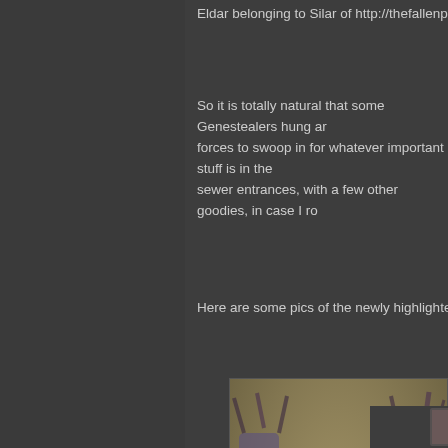Eldar belonging to Silar of http://thefallenprinces.blogs...
So it is totally natural that some Genestealers hung ar... forces to swoop in for whatever important stuff is in the... sewer entrances, with a few other goodies, in case I ro...
Here are some pics of the newly highlighted army, rea...
[Figure (photo): Close-up photograph of painted Warhammer 40K Genestealer Tyranid miniature figures. The miniatures are painted in purple and dark colors with bone/white details, red claws and organic details. Multiple figures visible on sandy/neutral bases against a blurred background.]